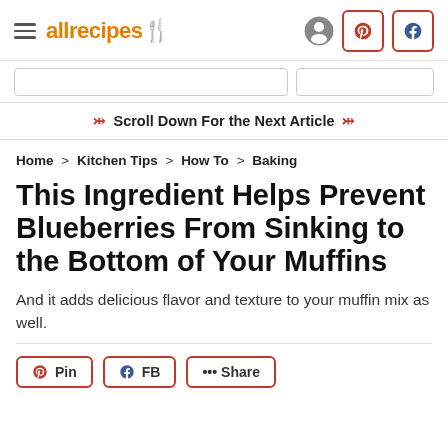allrecipes
Scroll Down For the Next Article
Home > Kitchen Tips > How To > Baking
This Ingredient Helps Prevent Blueberries From Sinking to the Bottom of Your Muffins
And it adds delicious flavor and texture to your muffin mix as well.
Pin  FB  ••• Share